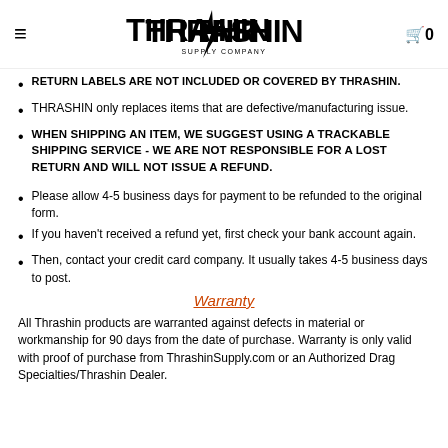THRASHIN SUPPLY COMPANY
RETURN LABELS ARE NOT INCLUDED or COVERED by THRASHIN.
THRASHIN only replaces items that are defective/manufacturing issue.
WHEN SHIPPING AN ITEM, WE SUGGEST USING A TRACKABLE SHIPPING SERVICE - WE ARE NOT RESPONSIBLE FOR A LOST RETURN AND WILL NOT ISSUE A REFUND.
Please allow 4-5 business days for payment to be refunded to the original form.
If you haven't received a refund yet, first check your bank account again.
Then, contact your credit card company. It usually takes 4-5 business days to post.
Warranty
All Thrashin products are warranted against defects in material or workmanship for 90 days from the date of purchase. Warranty is only valid with proof of purchase from ThrashinSupply.com or an Authorized Drag Specialties/Thrashin Dealer.